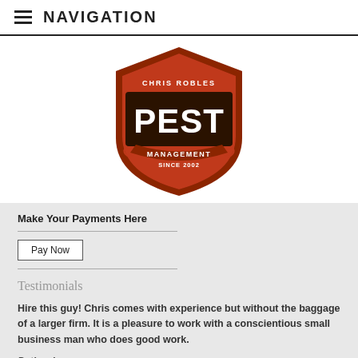NAVIGATION
[Figure (logo): Chris Robles Pest Management shield logo — red/brown shield with 'PEST' in large white letters, 'CHRIS ROBLES' at top, 'MANAGEMENT SINCE 2002' on banner at bottom]
Make Your Payments Here
Pay Now
Testimonials
Hire this guy! Chris comes with experience but without the baggage of a larger firm. It is a pleasure to work with a conscientious small business man who does good work.
Pathardy